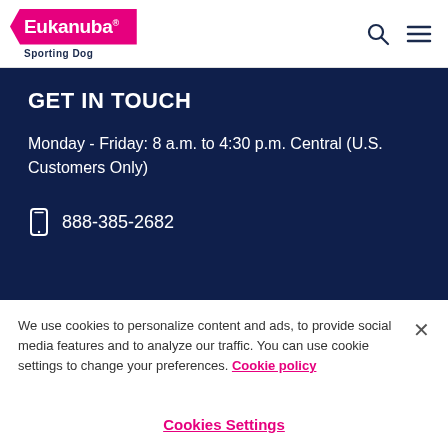Eukanuba Sporting Dog
GET IN TOUCH
Monday - Friday: 8 a.m. to 4:30 p.m. Central (U.S. Customers Only)
888-385-2682
We use cookies to personalize content and ads, to provide social media features and to analyze our traffic. You can use cookie settings to change your preferences. Cookie policy
Cookies Settings